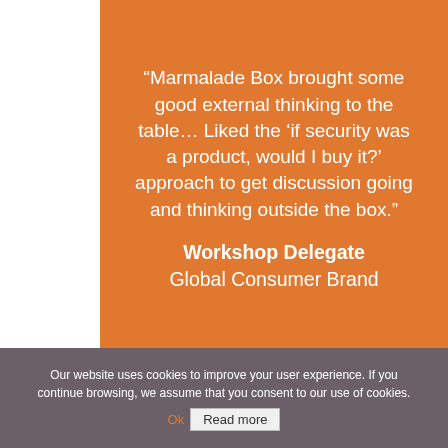“Marmalade Box brought some good external thinking to the table… Liked the ‘if security was a product, would I buy it?’ approach to get discussion going and thinking outside the box.”
Workshop Delegate
Global Consumer Brand
Our website uses cookies to improve your user experience. If you continue browsing, we assume that you consent to our use of cookies.